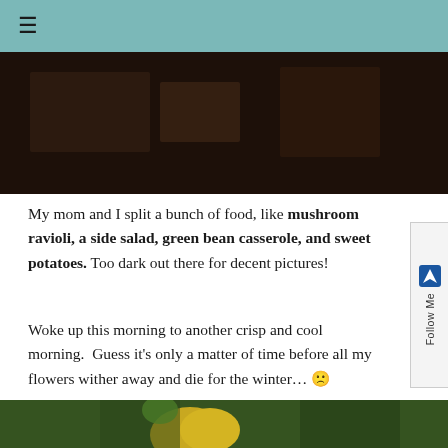≡
[Figure (photo): Dark photograph at the top of the page, dimly lit scene]
My mom and I split a bunch of food, like mushroom ravioli, a side salad, green bean casserole, and sweet potatoes. Too dark out there for decent pictures!
Woke up this morning to another crisp and cool morning.  Guess it's only a matter of time before all my flowers wither away and die for the winter… 🙁
[Figure (photo): Close-up photo of a yellow flower with green leaves in the background, bottom of page]